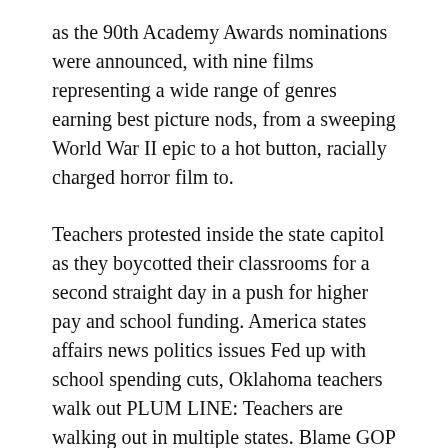as the 90th Academy Awards nominations were announced, with nine films representing a wide range of genres earning best picture nods, from a sweeping World War II epic to a hot button, racially charged horror film to.
Teachers protested inside the state capitol as they boycotted their classrooms for a second straight day in a push for higher pay and school funding. America states affairs news politics issues Fed up with school spending cuts, Oklahoma teachers walk out PLUM LINE: Teachers are walking out in multiple states. Blame GOP economics.
Both Intel and AMD control their server